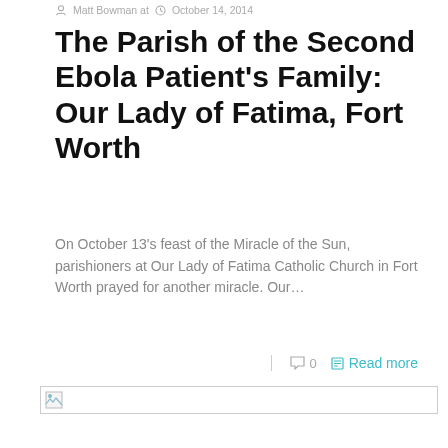Matt Bowman at October 14, 2014
The Parish of the Second Ebola Patient's Family: Our Lady of Fatima, Fort Worth
On October 13's feast of the Miracle of the Sun, parishioners at Our Lady of Fatima Catholic Church in Fort Worth prayed for another miracle. Our…
0   Read more
[Figure (other): Broken image placeholder at bottom of article listing]